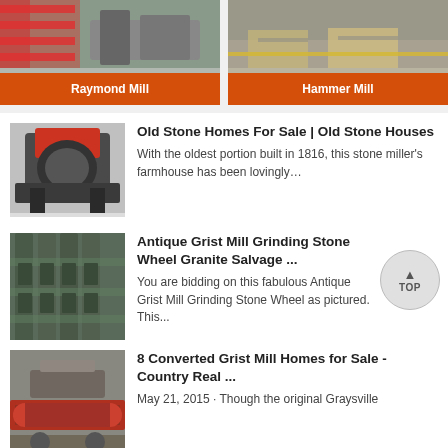[Figure (photo): Photo of Raymond Mill machinery with orange label banner]
Raymond Mill
[Figure (photo): Photo of Hammer Mill machinery with orange label banner]
Hammer Mill
[Figure (photo): Industrial grinding machine photo]
Old Stone Homes For Sale | Old Stone Houses
With the oldest portion built in 1816, this stone miller's farmhouse has been lovingly…
[Figure (photo): Industrial pipes and equipment photo]
Antique Grist Mill Grinding Stone Wheel Granite Salvage ...
You are bidding on this fabulous Antique Grist Mill Grinding Stone Wheel as pictured. This...
[Figure (photo): Conveyor belt machinery photo]
8 Converted Grist Mill Homes for Sale - Country Real ...
May 21, 2015 · Though the original Graysville